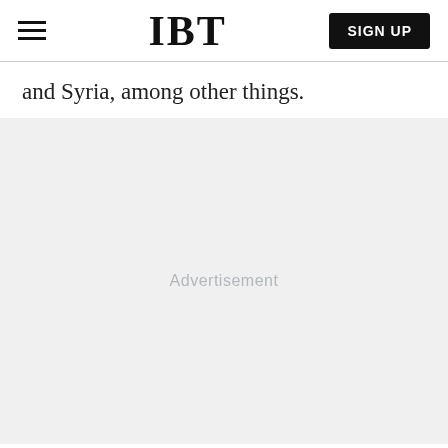IBT
and Syria, among other things.
[Figure (other): Advertisement placeholder area with light gray background and 'Advertisement' label text centered]